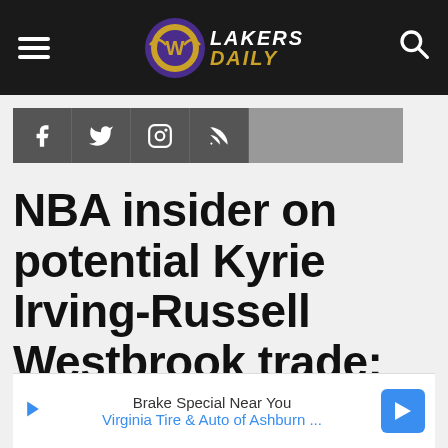Lakers Daily
[Figure (other): Social media icons bar: Facebook, Twitter, Instagram, RSS feed icons on dark gray background, followed by light gray bar]
NBA insider on potential Kyrie Irving-Russell Westbrook trade: ‘The Lakers are sick of the Russell
Brake Special Near You
Virginia Tire & Auto of Ashburn ...